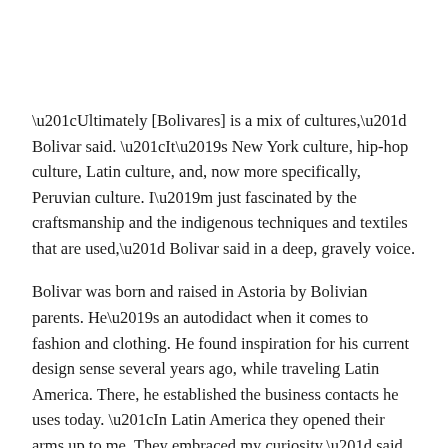“Ultimately [Bolivares] is a mix of cultures,” Bolivar said. “It’s New York culture, hip-hop culture, Latin culture, and, now more specifically, Peruvian culture. I’m just fascinated by the craftsmanship and the indigenous techniques and textiles that are used,” Bolivar said in a deep, gravely voice.
Bolivar was born and raised in Astoria by Bolivian parents. He’s an autodidact when it comes to fashion and clothing. He found inspiration for his current design sense several years ago, while traveling Latin America. There, he established the business contacts he uses today. “In Latin America they opened their arms up to me. They embraced my curiosity,” said Bolivar, who equated his time abroad to getting a college degree. Now he aims to be “the number one Latin American brand.”